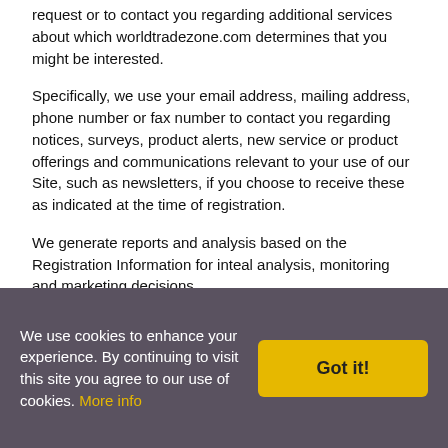request or to contact you regarding additional services about which worldtradezone.com determines that you might be interested.
Specifically, we use your email address, mailing address, phone number or fax number to contact you regarding notices, surveys, product alerts, new service or product offerings and communications relevant to your use of our Site, such as newsletters, if you choose to receive these as indicated at the time of registration.
We generate reports and analysis based on the Registration Information for inteal analysis, monitoring and marketing decisions.
2.3 Publishing Information.
All of your Publishing Information will be publicly available on the Site and therefore accessible by any inteet user.
Any Publishing Information that you disclose to worldtradezone.com becomes public information and you relinquish any proprietary rights (including but not limited to the rights of confidentiality and copyrights)
We use cookies to enhance your experience. By continuing to visit this site you agree to our use of cookies. More info